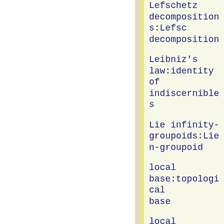Lefschetz decompositions:Lefschetz decomposition
Leibniz's law:identity of indiscernibles
Lie infinity-groupoids:Lie n-groupoid
local base:topological base
local bases:topological base
localization of a model category:localization of model